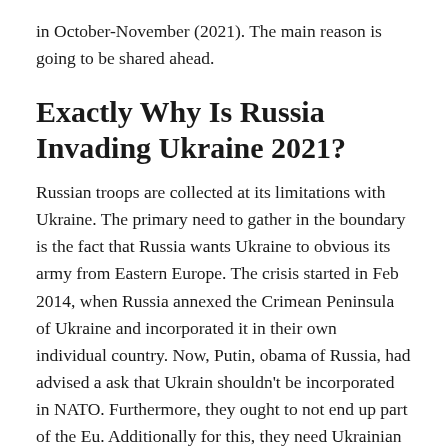in October-November (2021). The main reason is going to be shared ahead.
Exactly Why Is Russia Invading Ukraine 2021?
Russian troops are collected at its limitations with Ukraine. The primary need to gather in the boundary is the fact that Russia wants Ukraine to obvious its army from Eastern Europe. The crisis started in Feb 2014, when Russia annexed the Crimean Peninsula of Ukraine and incorporated it in their own individual country. Now, Putin, obama of Russia, had advised a ask that Ukrain shouldn't be incorporated in NATO. Furthermore, they ought to not end up part of the Eu. Additionally for this, they need Ukrainian troops to obvious the Eastern European areas.